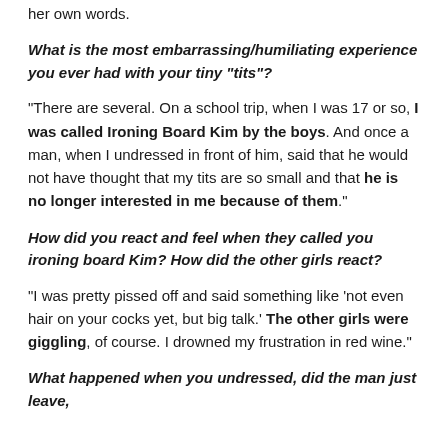her own words.
What is the most embarrassing/humiliating experience you ever had with your tiny “tits”?
“There are several. On a school trip, when I was 17 or so, I was called Ironing Board Kim by the boys. And once a man, when I undressed in front of him, said that he would not have thought that my tits are so small and that he is no longer interested in me because of them.”
How did you react and feel when they called you ironing board Kim? How did the other girls react?
“I was pretty pissed off and said something like ‘not even hair on your cocks yet, but big talk.’ The other girls were giggling, of course. I drowned my frustration in red wine.”
What happened when you undressed, did the man just leave,